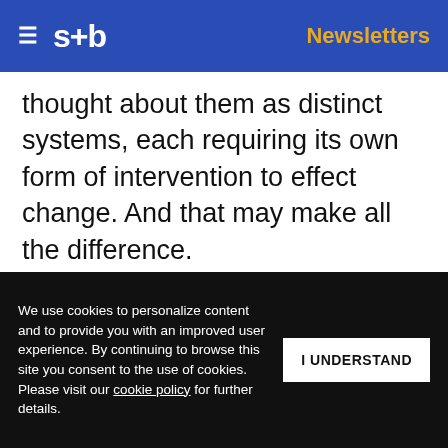≡ s+b | Newsletters
thought about them as distinct systems, each requiring its own form of intervention to effect change. And that may make all the difference.
The Scale-seeking Hierarchy
Most managers think of a hierarchy as a structure: the lines and boxes on the org chart. But a hierarchy is also a communications system, and a company needs to grow to
Get s+b's award-winning newsletter delivered to your inbox.
We use cookies to personalize content and to provide you with an improved user experience. By continuing to browse this site you consent to the use of cookies. Please visit our cookie policy for further details.